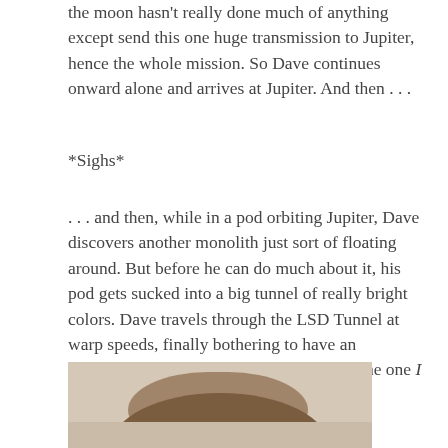the moon hasn't really done much of anything except send this one huge transmission to Jupiter, hence the whole mission. So Dave continues onward alone and arrives at Jupiter. And then . . .
*Sighs*
. . . and then, while in a pod orbiting Jupiter, Dave discovers another monolith just sort of floating around. But before he can do much about it, his pod gets sucked into a big tunnel of really bright colors. Dave travels through the LSD Tunnel at warp speeds, finally bothering to have an expression or two, although probably not the one I would be having at this point:
[Figure (photo): Partial photo showing the top of a person's head with dark hair against a light background]